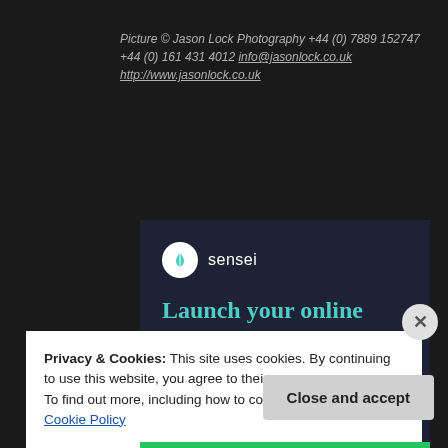Picture © Jason Lock Photography +44 (0) 7889 152747 +44 (0) 161 431 4012 info@jasonlock.co.uk http://www.jasonlock.co.uk
[Figure (infographic): Sensei advertisement: Launch your online course with WordPress. Dark navy background with teal text and a Learn More button.]
Privacy & Cookies: This site uses cookies. By continuing to use this website, you agree to their use.
To find out more, including how to control cookies, see here: Cookie Policy
Close and accept